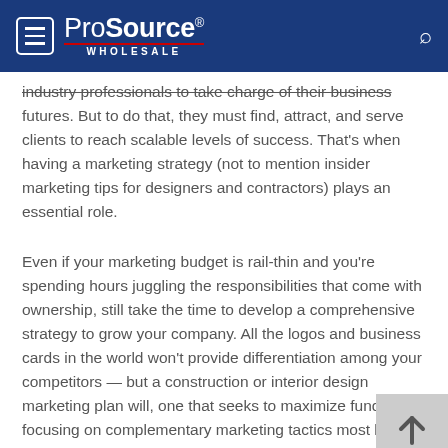ProSource WHOLESALE
industry professionals to take charge of their business futures. But to do that, they must find, attract, and serve clients to reach scalable levels of success. That's when having a marketing strategy (not to mention insider marketing tips for designers and contractors) plays an essential role.
Even if your marketing budget is rail-thin and you're spending hours juggling the responsibilities that come with ownership, still take the time to develop a comprehensive strategy to grow your company. All the logos and business cards in the world won't provide differentiation among your competitors — but a construction or interior design marketing plan will, one that seeks to maximize funds by focusing on complementary marketing tactics most likely to get you noticed.
To discover what...